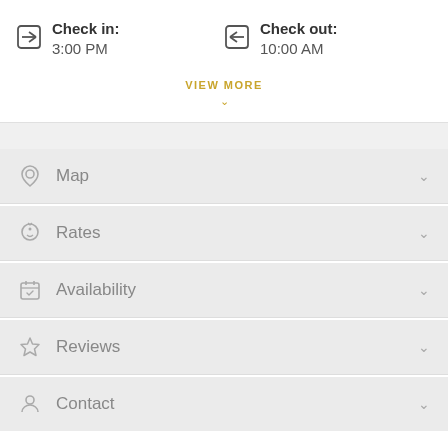Check in: 3:00 PM
Check out: 10:00 AM
VIEW MORE
Map
Rates
Availability
Reviews
Contact